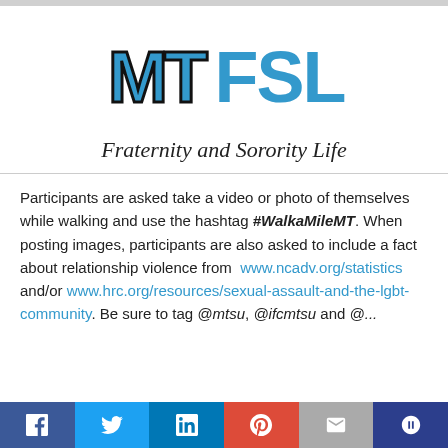[Figure (logo): MTSU Fraternity and Sorority Life logo with MT athletic logo and FSL text]
Fraternity and Sorority Life
Participants are asked take a video or photo of themselves while walking and use the hashtag #WalkaMileMT. When posting images, participants are also asked to include a fact about relationship violence from www.ncadv.org/statistics and/or www.hrc.org/resources/sexual-assault-and-the-lgbt-community. Be sure to tag @mtsu, @ifcmtsu and @...